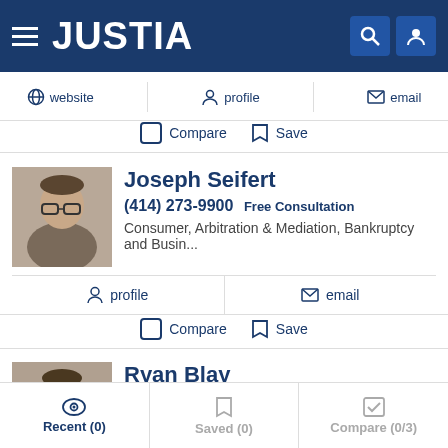JUSTIA
website  profile  email
Compare  Save
Joseph Seifert
(414) 273-9900 Free Consultation
Consumer, Arbitration & Mediation, Bankruptcy and Busin...
profile  email
Compare  Save
Ryan Blay
Consumer
Recent (0)  Saved (0)  Compare (0/3)